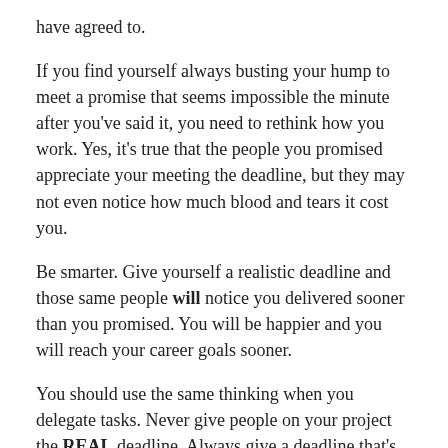have agreed to.
If you find yourself always busting your hump to meet a promise that seems impossible the minute after you've said it, you need to rethink how you work. Yes, it's true that the people you promised appreciate your meeting the deadline, but they may not even notice how much blood and tears it cost you.
Be smarter. Give yourself a realistic deadline and those same people will notice you delivered sooner than you promised. You will be happier and you will reach your career goals sooner.
You should use the same thinking when you delegate tasks. Never give people on your project the REAL deadline. Always give a deadline that's BEFORE your true deadline so that you can still stay on track when someone else screws up.